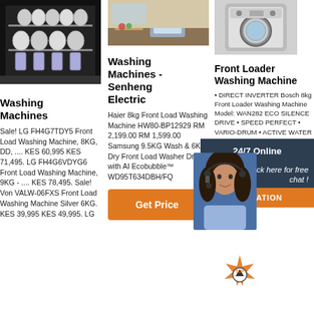[Figure (photo): Dishwasher with dishes inside, dark background]
Washing Machines
Sale! LG FH4G7TDY5 Front Load Washing Machine, 8KG, DD, .... KES 60,995 KES 71,495. LG FH4G6VDYG6 Front Load Washing Machine, 9KG - .... KES 78,495. Sale! Von VALW-06FXS Front Load Washing Machine Silver 6KG. KES 39,995 KES 49,995. LG
[Figure (photo): Kitchen scene with washing machine]
Washing Machines - Senheng Electric
Haier 8kg Front Load Washing Machine HW80-BP12929 RM 2,199.00 RM 1,599.00 Samsung 9.5KG Wash & 6KG Dry Front Load Washer Dryer with AI Ecobubble™ WD95T634DBH/FQ
[Figure (other): Get Price orange button]
[Figure (photo): Washing machine product photo]
Front Loader Washing Machine
• DIRECT INVERTER Bosch 8kg Front Loader Washing Machine Model: WAN2820 ECO SILENCE DRIVE • SPEED PERFECT • VARIO-DRUM • ACTIVE WATER • TOUCH CONTROL BUTTONS. R 7,199.00. BOSCH IN STOCK. Bosch 9kg Front ...
[Figure (photo): 24/7 Online chat agent with woman wearing headset]
Click here for free chat!
QUOTATION